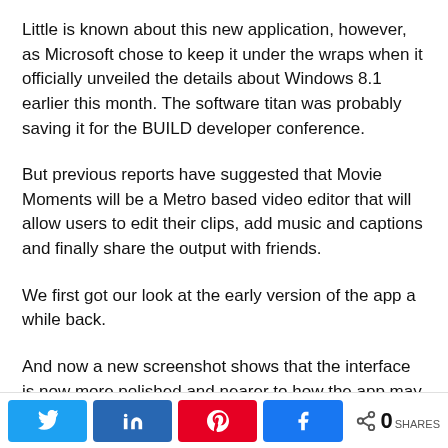Little is known about this new application, however, as Microsoft chose to keep it under the wraps when it officially unveiled the details about Windows 8.1 earlier this month. The software titan was probably saving it for the BUILD developer conference.
But previous reports have suggested that Movie Moments will be a Metro based video editor that will allow users to edit their clips, add music and captions and finally share the output with friends.
We first got our look at the early version of the app a while back.
And now a new screenshot shows that the interface is now more polished and nearer to how the app may look in the final version. This is another sign that we are getting mighty near to the launch of the